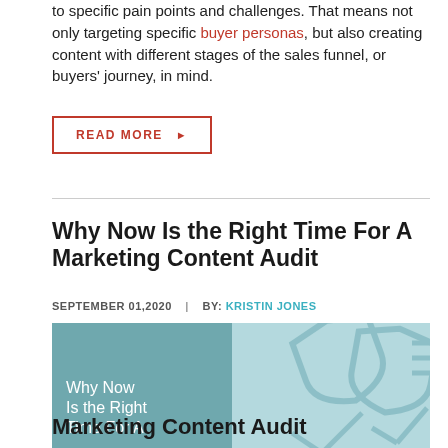to specific pain points and challenges. That means not only targeting specific buyer personas, but also creating content with different stages of the sales funnel, or buyers' journey, in mind.
READ MORE ▶
Why Now Is the Right Time For A Marketing Content Audit
SEPTEMBER 01,2020  |  BY: KRISTIN JONES
[Figure (illustration): Article thumbnail image showing 'Why Now Is the Right Time For A' text on a teal-shaded left panel, with a stylized shield/audit icon graphic on a light teal background on the right panel. The bottom shows 'Marketing Content Audit' text overlaid.]